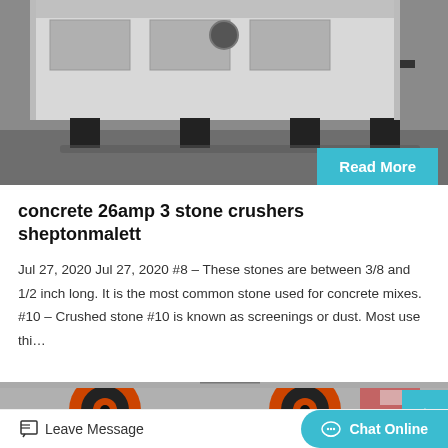[Figure (photo): Industrial stone crusher machine (white/grey metal frame) sitting on a grey floor, viewed from below/side angle.]
Read More
concrete 26amp 3 stone crushers sheptonmalett
Jul 27, 2020 Jul 27, 2020 #8 – These stones are between 3/8 and 1/2 inch long. It is the most common stone used for concrete mixes. #10 – Crushed stone #10 is known as screenings or dust. Most use thi…
[Figure (photo): Industrial machinery with large orange and black wheels/pulleys on a factory floor, with orange and red signage in background.]
Leave Message
Chat Online